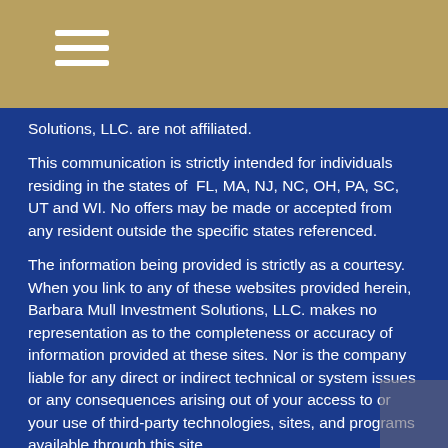Solutions, LLC. are not affiliated.
This communication is strictly intended for individuals residing in the states of FL, MA, NJ, NC, OH, PA, SC, UT and WI. No offers may be made or accepted from any resident outside the specific states referenced.
The information being provided is strictly as a courtesy. When you link to any of these websites provided herein, Barbara Mull Investment Solutions, LLC. makes no representation as to the completeness or accuracy of information provided at these sites. Nor is the company liable for any direct or indirect technical or system issues or any consequences arising out of your access to or your use of third-party technologies, sites, and programs available through this site.